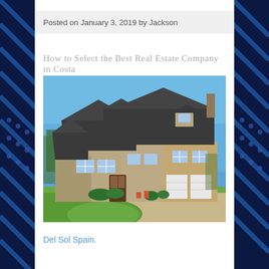Posted on January 3, 2019 by Jackson
How to Select the Best Real Estate Company in Costa
[Figure (photo): Large two-story stone and brick residential house with dark roof, multiple gables, white-framed windows, attached garage, curved driveway, green lawn, clear blue sky background]
Del Sol Spain.